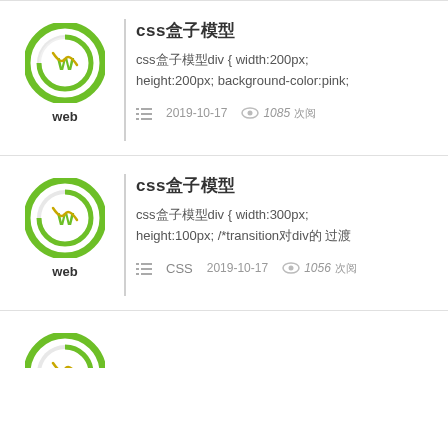[Figure (logo): Green circular web logo with 'w' letter inside, labeled 'web']
CSS盒子模型
css盒子模型div { width:200px; height:200px; background-color:pink;
2019-10-17  1085 次阅
[Figure (logo): Green circular web logo with 'w' letter inside, labeled 'web']
CSS盒子模型
css盒子模型div { width:300px; height:100px; /*transition对div的 过渡
CSS  2019-10-17  1056 次阅
[Figure (logo): Green circular web logo with 'w' letter inside, partially visible]